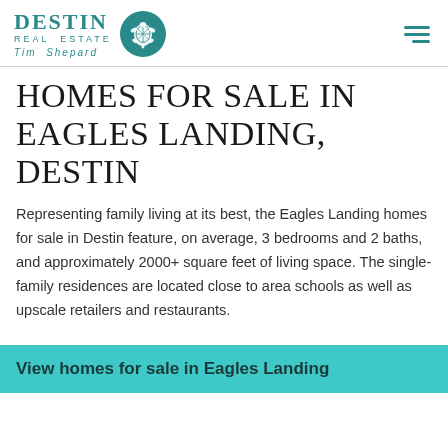Destin Real Estate Tim Shepard
HOMES FOR SALE IN EAGLES LANDING, DESTIN
Representing family living at its best, the Eagles Landing homes for sale in Destin feature, on average, 3 bedrooms and 2 baths, and approximately 2000+ square feet of living space. The single-family residences are located close to area schools as well as upscale retailers and restaurants.
View homes for sale in Eagles Landing